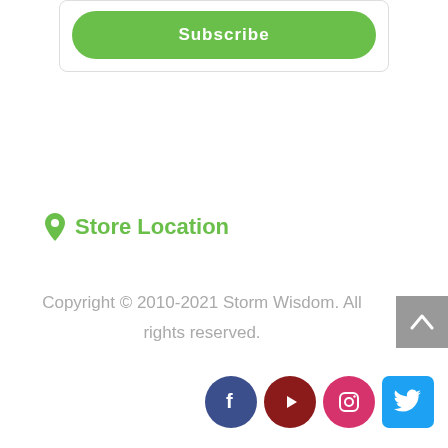[Figure (screenshot): Green Subscribe button inside a rounded white card/box at the top of the page]
Store Location
Copyright © 2010-2021 Storm Wisdom. All rights reserved.
[Figure (infographic): Social media icons row: Facebook (dark blue circle), YouTube (dark red circle), Instagram (pink/red circle), Twitter (blue rounded square)]